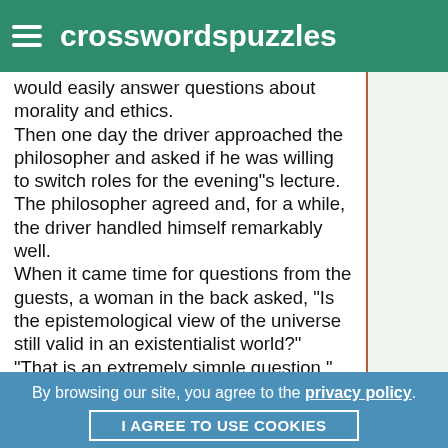crosswordspuzzles
would easily answer questions about morality and ethics.
Then one day the driver approached the philosopher and asked if he was willing to switch roles for the evening"s lecture. The philosopher agreed and, for a while, the driver handled himself remarkably well.
When it came time for questions from the guests, a woman in the back asked, "Is the epistemological view of the universe still valid in an existentialist world?"
"That is an extremely simple question," he responded. "So simple, in fact, that even my driver could answer that, which is exactly what he will do."
widgets
By browsing our site, you agree to the privacy policy.
I AGREE TO USE COOKIES